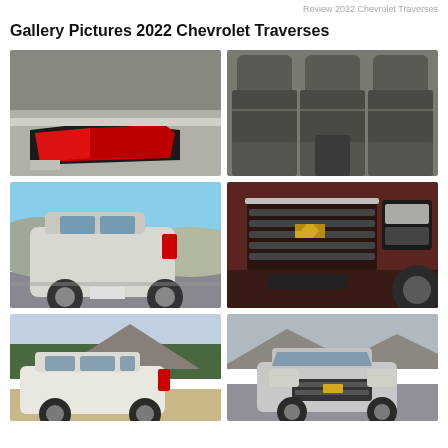Review 2022 Chevrolet Traverses
Gallery Pictures 2022 Chevrolet Traverses
[Figure (photo): Close-up of 2022 Chevrolet Traverse rear tail light, silver exterior]
[Figure (photo): Interior rear seating of 2022 Chevrolet Traverse, dark gray leather seats]
[Figure (photo): 2022 Chevrolet Traverse white/silver SUV rear three-quarter view in motion on road]
[Figure (photo): 2022 Chevrolet Traverse dark red/brown front grille close-up with Chevrolet bowtie logo]
[Figure (photo): 2022 Chevrolet Traverse white SUV side/rear view with mountains and trees in background]
[Figure (photo): 2022 Chevrolet Traverse silver SUV front three-quarter view with mountain scenery]